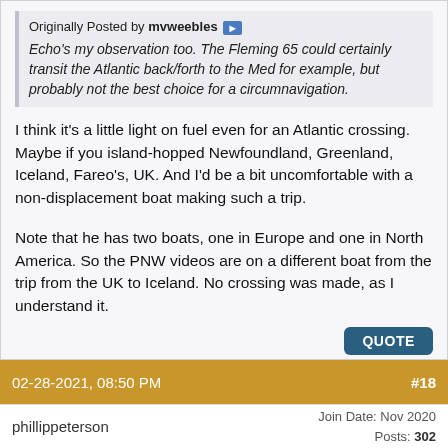Originally Posted by mvweebles
Echo's my observation too. The Fleming 65 could certainly transit the Atlantic back/forth to the Med for example, but probably not the best choice for a circumnavigation.
I think it's a little light on fuel even for an Atlantic crossing. Maybe if you island-hopped Newfoundland, Greenland, Iceland, Fareo's, UK. And I'd be a bit uncomfortable with a non-displacement boat making such a trip.
Note that he has two boats, one in Europe and one in North America. So the PNW videos are on a different boat from the trip from the UK to Iceland. No crossing was made, as I understand it.
02-28-2021, 08:50 PM  #18
phillippeterson   Join Date: Nov 2020  Posts: 302